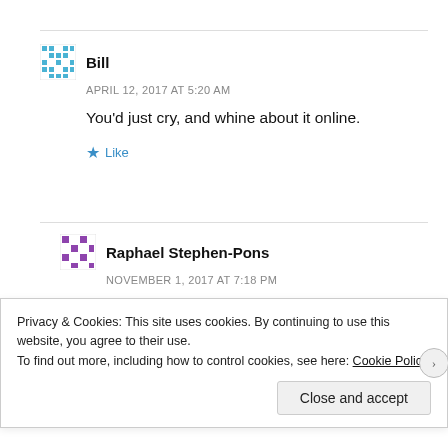Bill
APRIL 12, 2017 AT 5:20 AM
You'd just cry, and whine about it online.
Like
Raphael Stephen-Pons
NOVEMBER 1, 2017 AT 7:18 PM
You won't be punched for supporting Trump, and let's be honest anti fa travel in numbers you wouldn't do
Privacy & Cookies: This site uses cookies. By continuing to use this website, you agree to their use. To find out more, including how to control cookies, see here: Cookie Policy
Close and accept